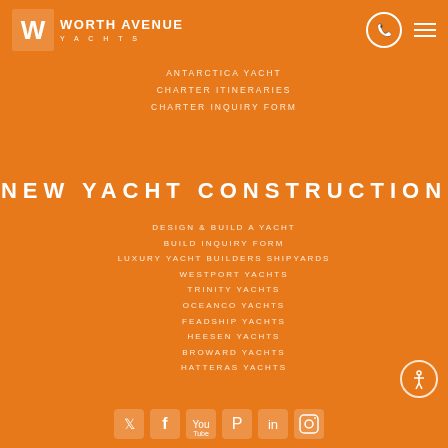[Figure (logo): Worth Avenue Yachts logo with stylized W mark in white on orange background]
ANTARCTICA YACHT
CHARTER ITINERARIES
CHARTER INQUIRY FORM
NEW YACHT CONSTRUCTION
DESIGN & BUILD A YACHT
BUILD INQUIRY FORM
LUXURY YACHT BUILDERS SHIPYARDS
WESTPORT YACHTS
TRINITY YACHTS
OCEANCO YACHTS
FEADSHIP YACHTS
HEESEN YACHTS
BROWARD YACHTS
HATTERAS YACHTS
[Figure (infographic): Social media icons row: Twitter, Facebook, YouTube, Pinterest, LinkedIn, Instagram]